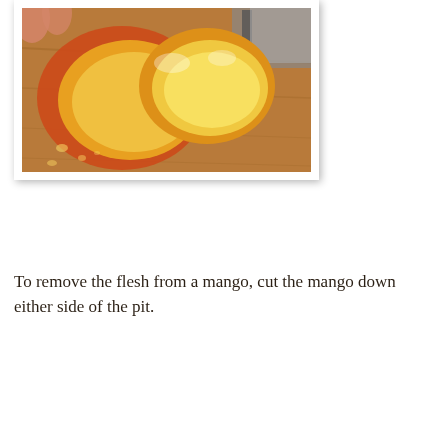[Figure (photo): A photo of a mango cut down either side of the pit, showing two mango halves with yellow-orange flesh, held in a hand over a wooden cutting board with a knife visible in the background.]
To remove the flesh from a mango, cut the mango down either side of the pit.